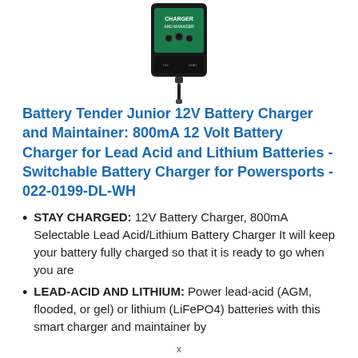[Figure (photo): Battery Tender charger and maintainer device shown from front, dark colored device with green label, with a cord extending downward]
Battery Tender Junior 12V Battery Charger and Maintainer: 800mA 12 Volt Battery Charger for Lead Acid and Lithium Batteries - Switchable Battery Charger for Powersports - 022-0199-DL-WH
STAY CHARGED: 12V Battery Charger, 800mA Selectable Lead Acid/Lithium Battery Charger It will keep your battery fully charged so that it is ready to go when you are
LEAD-ACID AND LITHIUM: Power lead-acid (AGM, flooded, or gel) or lithium (LiFePO4) batteries with this smart charger and maintainer by
x